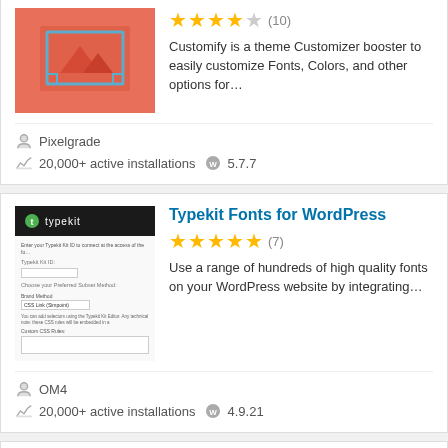[Figure (screenshot): Customify plugin thumbnail: salmon/coral background with image placeholder icon (mountains and triangles) with blue border frame]
Customify is a theme Customizer booster to easily customize Fonts, Colors, and other options for…
Pixelgrade
20,000+ active installations  5.7.7
[Figure (screenshot): Typekit Fonts for WordPress plugin thumbnail showing Typekit logo on dark background and settings form below]
Typekit Fonts for WordPress
Use a range of hundreds of high quality fonts on your WordPress website by integrating…
OM4
20,000+ active installations  4.9.21
[Figure (screenshot): TypeSquare Webfonts plugin thumbnail showing Japanese text on blue background]
TypeSquare Webfonts for